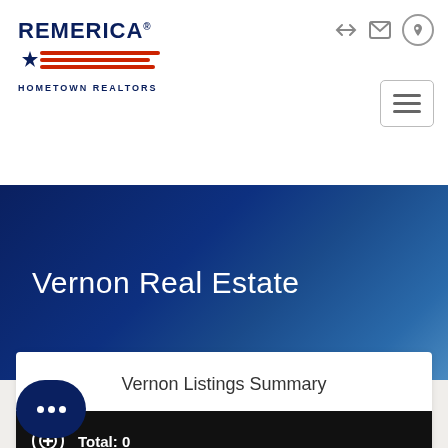[Figure (logo): Remerica Hometown Realtors logo with star and flag stripes]
Vernon Real Estate
Vernon Listings Summary
Total: 0